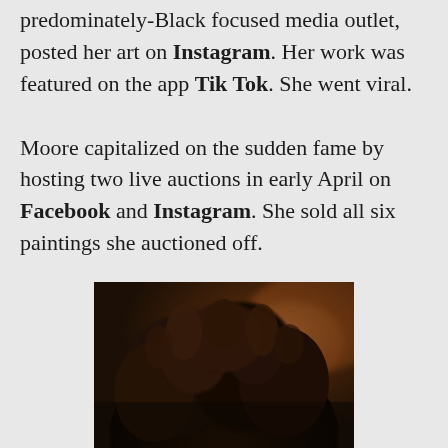predominately-Black focused media outlet, posted her art on Instagram. Her work was featured on the app Tik Tok. She went viral.

Moore capitalized on the sudden fame by hosting two live auctions in early April on Facebook and Instagram. She sold all six paintings she auctioned off.
[Figure (photo): A close-up photograph showing the top of a person's head with voluminous, curly/natural Black hair. The background is blurred with warm/colorful tones.]